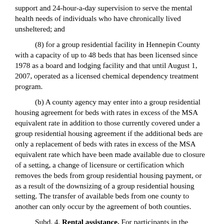support and 24-hour-a-day supervision to serve the mental health needs of individuals who have chronically lived unsheltered; and
(8) for a group residential facility in Hennepin County with a capacity of up to 48 beds that has been licensed since 1978 as a board and lodging facility and that until August 1, 2007, operated as a licensed chemical dependency treatment program.
(b) A county agency may enter into a group residential housing agreement for beds with rates in excess of the MSA equivalent rate in addition to those currently covered under a group residential housing agreement if the additional beds are only a replacement of beds with rates in excess of the MSA equivalent rate which have been made available due to closure of a setting, a change of licensure or certification which removes the beds from group residential housing payment, or as a result of the downsizing of a group residential housing setting. The transfer of available beds from one county to another can only occur by the agreement of both counties.
Subd. 4. Rental assistance. For participants in the